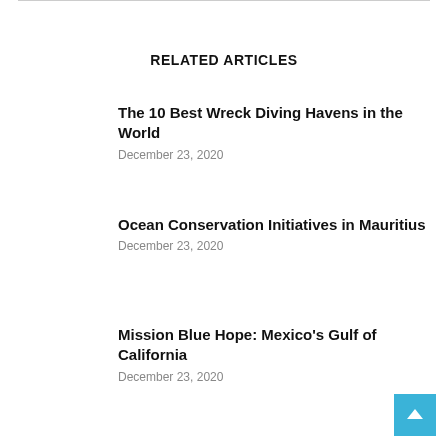RELATED ARTICLES
The 10 Best Wreck Diving Havens in the World
December 23, 2020
Ocean Conservation Initiatives in Mauritius
December 23, 2020
Mission Blue Hope: Mexico's Gulf of California
December 23, 2020